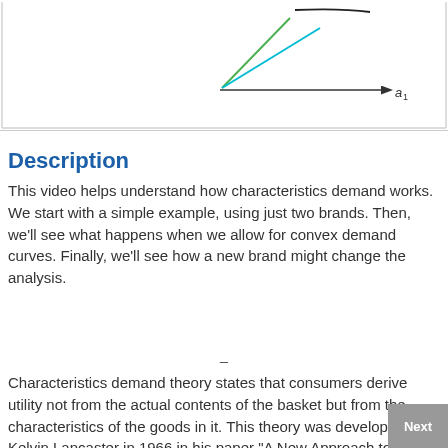[Figure (continuous-plot): Partial view of a characteristics demand diagram showing axes with a1 label on horizontal axis, and colored lines (green, teal/cyan, and black curve) emanating from origin area, on white background with border.]
Description
This video helps understand how characteristics demand works. We start with a simple example, using just two brands. Then, we'll see what happens when we allow for convex demand curves. Finally, we'll see how a new brand might change the analysis.
–
Characteristics demand theory states that consumers derive utility not from the actual contents of the basket but from the characteristics of the goods in it. This theory was developed by Kelvin Lancaster in 1966 in his paper "A New Approach to Consumer Theory".